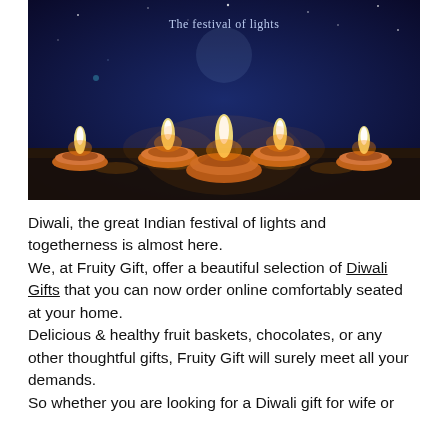[Figure (photo): Photo of five lit clay diya oil lamps with glowing flames arranged on a dark surface against a dark blue starry background. Text 'The festival of lights' appears in white at the top center.]
Diwali, the great Indian festival of lights and togetherness is almost here.
We, at Fruity Gift, offer a beautiful selection of Diwali Gifts that you can now order online comfortably seated at your home.
Delicious & healthy fruit baskets, chocolates, or any other thoughtful gifts, Fruity Gift will surely meet all your demands.
So whether you are looking for a Diwali gift for wife or